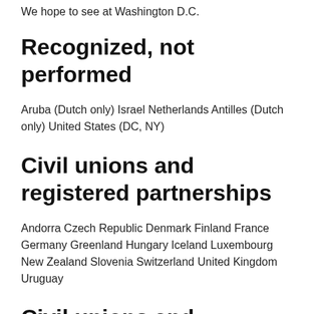We hope to see at Washington D.C.
Recognized, not performed
Aruba (Dutch only) Israel Netherlands Antilles (Dutch only) United States (DC, NY)
Civil unions and registered partnerships
Andorra Czech Republic Denmark Finland France Germany Greenland Hungary Iceland Luxembourg New Zealand Slovenia Switzerland United Kingdom Uruguay
Civil unions and registered partnerships Performed in some regions